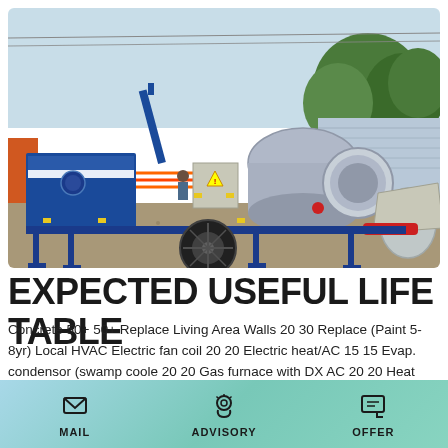[Figure (photo): A blue mobile concrete mixer/pump machine on a construction site with gravel ground, trees and fence in background.]
EXPECTED USEFUL LIFE TABLE
Concrete 50+ 50+ Replace Living Area Walls 20 30 Replace (Paint 5-8yr) Local HVAC Electric fan coil 20 20 Electric heat/AC 15 15 Evap. condensor (swamp coole 20 20 Gas furnace with DX AC 20 20 Heat pump condensing unit 15 15
MAIL   ADVISORY   OFFER